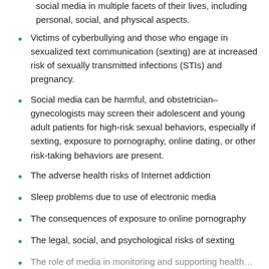Adolescents and young adults can benefit from the use of social media in multiple facets of their lives, including personal, social, and physical aspects.
Victims of cyberbullying and those who engage in sexualized text communication (sexting) are at increased risk of sexually transmitted infections (STIs) and pregnancy.
Social media can be harmful, and obstetrician–gynecologists may screen their adolescent and young adult patients for high-risk sexual behaviors, especially if sexting, exposure to pornography, online dating, or other risk-taking behaviors are present.
The adverse health risks of Internet addiction
Sleep problems due to use of electronic media
The consequences of exposure to online pornography
The legal, social, and psychological risks of sexting
The role of media in monitoring and supporting health